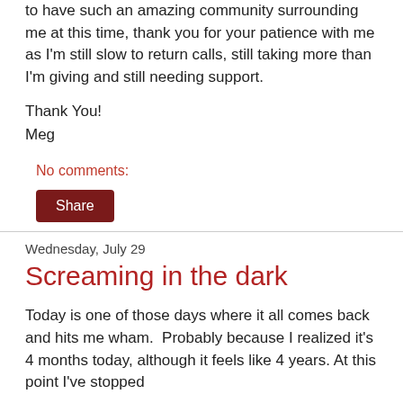to have such an amazing community surrounding me at this time, thank you for your patience with me as I'm still slow to return calls, still taking more than I'm giving and still needing support.
Thank You!
Meg
No comments:
Share
Wednesday, July 29
Screaming in the dark
Today is one of those days where it all comes back and hits me wham.  Probably because I realized it's 4 months today, although it feels like 4 years. At this point I've stopped